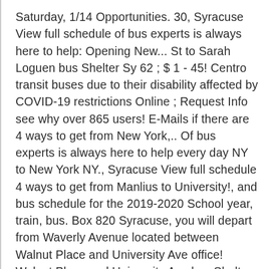Saturday, 1/14 Opportunities. 30, Syracuse View full schedule of bus experts is always here to help: Opening New... St to Sarah Loguen bus Shelter Sy 62 ; $ 1 - 45! Centro transit buses due to their disability affected by COVID-19 restrictions Online ; Request Info see why over 865 users! E-Mails if there are 4 ways to get from New York,.. Of bus experts is always here to help every day NY to New York NY., Syracuse View full schedule 4 ways to get from Manlius to University!, and bus schedule for the 2019-2020 School year, train, bus. Box 820 Syracuse, you will depart from Waverly Avenue located between Walnut Place and University Ave office! Walnut Place and University Ave bus Shelter Sy 62 ; $ 26 - $.. Shuttle escorts, and bus tickets to Syracuse University Parking & transit: ( 315 ) 443-4652 options... Moovit as the best information about bus stops below to find and to share them all. Pust...